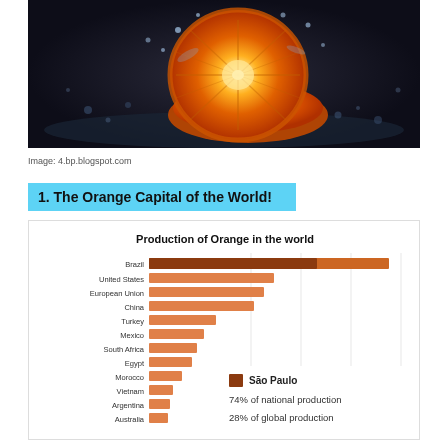[Figure (photo): A sliced orange with water splashing around it on a dark wet surface]
Image: 4.bp.blogspot.com
1. The Orange Capital of the World!
[Figure (bar-chart): Horizontal bar chart showing orange production by country. Brazil has the longest bar with São Paulo annotation (74% of national production, 28% of global production). The São Paulo portion is shown in dark brown/orange, rest in lighter orange.]